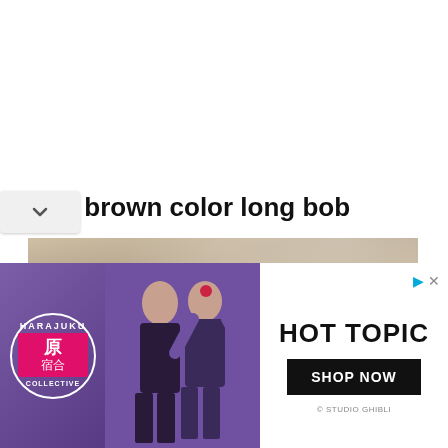Ash brown color long bob
[Figure (photo): Close-up photo of a person with ash brown colored long bob hairstyle, showing top portion of face with brown/grey-toned hair parted in the middle]
[Figure (photo): Advertisement banner for Hot Topic featuring Harajuku Collective branding with two figures in purple/dark clothing on the left, and Hot Topic logo with a Shop Now button on the right]